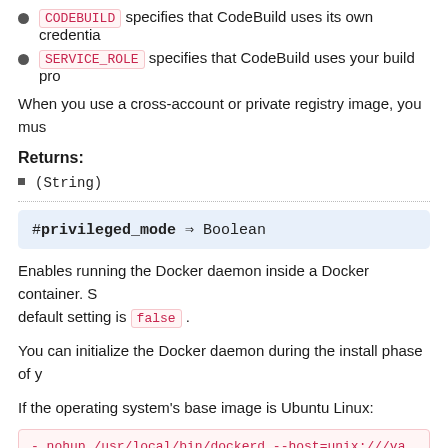CODEBUILD specifies that CodeBuild uses its own credentia...
SERVICE_ROLE specifies that CodeBuild uses your build pro...
When you use a cross-account or private registry image, you mus...
Returns:
(String)
#privileged_mode ⇒ Boolean
Enables running the Docker daemon inside a Docker container. S... default setting is false.
You can initialize the Docker daemon during the install phase of y...
If the operating system's base image is Ubuntu Linux:
- nohup /usr/local/bin/dockerd --host=unix:///va...
- timeout 15 sh -c "until docker info; do echo ...